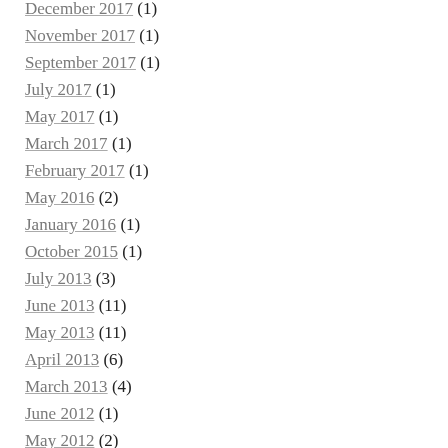December 2017 (1)
November 2017 (1)
September 2017 (1)
July 2017 (1)
May 2017 (1)
March 2017 (1)
February 2017 (1)
May 2016 (2)
January 2016 (1)
October 2015 (1)
July 2013 (3)
June 2013 (11)
May 2013 (11)
April 2013 (6)
March 2013 (4)
June 2012 (1)
May 2012 (2)
March 2012 (11)
February 2012 (23)